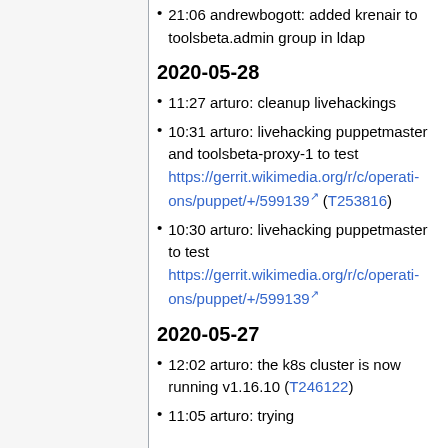21:06 andrewbogott: added krenair to toolsbeta.admin group in ldap
2020-05-28
11:27 arturo: cleanup livehackings
10:31 arturo: livehacking puppetmaster and toolsbeta-proxy-1 to test https://gerrit.wikimedia.org/r/c/operations/puppet/+/599139 (T253816)
10:30 arturo: livehacking puppetmaster to test https://gerrit.wikimedia.org/r/c/operations/puppet/+/599139
2020-05-27
12:02 arturo: the k8s cluster is now running v1.16.10 (T246122)
11:05 arturo: trying